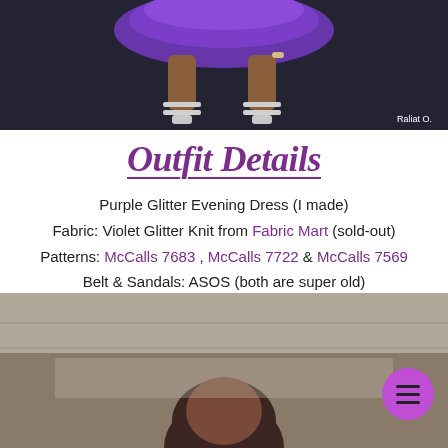[Figure (photo): Top portion of image showing feet/legs of a person wearing a purple glitter dress and silver sandals on a dark textured floor. Photo credit: Raliat O.]
Outfit Details
Purple Glitter Evening Dress (I made)
Fabric: Violet Glitter Knit from Fabric Mart (sold-out)
Patterns: McCalls 7683, McCalls 7722 & McCalls 7569
Belt & Sandals: ASOS (both are super old)
[Figure (photo): Bottom portion showing a person (Raliat O.) from the neck up, standing in front of a light-colored wall/paneling. A purple circular menu button is visible in the lower right corner.]